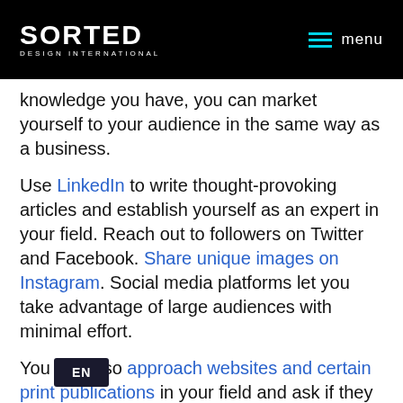SORTED DESIGN INTERNATIONAL | menu
knowledge you have, you can market yourself to your audience in the same way as a business.
Use LinkedIn to write thought-provoking articles and establish yourself as an expert in your field. Reach out to followers on Twitter and Facebook. Share unique images on Instagram. Social media platforms let you take advantage of large audiences with minimal effort.
You can also approach websites and certain print publications in your field and ask if they will consider publishing articles written by you. If you're more of a visual person, see if certain we... would be willing to share some of your vi... photographs.